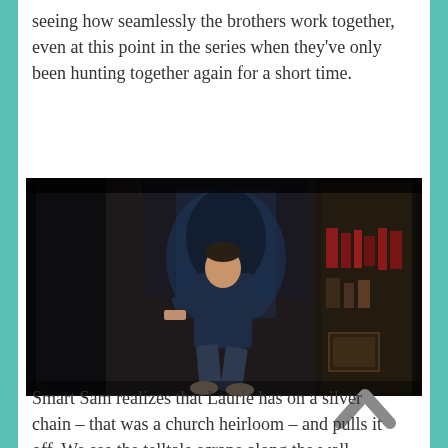seeing how seamlessly the brothers work together, even at this point in the series when they've only been hunting together again for a short time.
[Figure (photo): A dark scene from a TV show (appears to be Supernatural) showing a man in a blue jacket in a combat stance in a dimly lit room with wood paneling and bookshelves in the background.]
Smart Sam realizes that Laurie has on a silver chain – that was a church heirloom – and pulls it off. We see the telltale scrape along the wall,